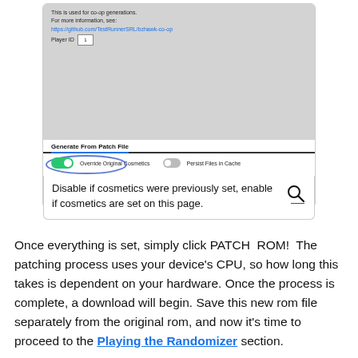[Figure (screenshot): Screenshot of a ROM patching tool UI showing: small text 'This is used for co-op generations. For more information, see: https://github.com/TestRunnerSRL/bzhawk-co-op', a Player ID field with value 1, a 'Generate From Patch File' tab selected with underline, a green toggle labeled 'Override Original Cosmetics' circled in blue handwriting, a grey toggle labeled 'Persist Files in Cache', and a green PATCH ROM! button at the bottom.]
Disable if cosmetics were previously set, enable if cosmetics are set on this page.
Once everything is set, simply click PATCH ROM! The patching process uses your device's CPU, so how long this takes is dependent on your hardware. Once the process is complete, a download will begin. Save this new rom file separately from the original rom, and now it's time to proceed to the Playing the Randomizer section.